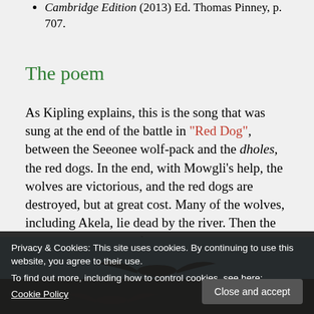Cambridge Edition (2013) Ed. Thomas Pinney, p. 707.
The poem
As Kipling explains, this is the song that was sung at the end of the battle in “Red Dog”, between the Seeonee wolf-pack and the dholes, the red dogs. In the end, with Mowgli’s help, the wolves are victorious, and the red dogs are destroyed, but at great cost. Many of the wolves, including Akela, lie dead by the river. Then the kites swoop down to feast.
Privacy & Cookies: This site uses cookies. By continuing to use this website, you agree to their use.
To find out more, including how to control cookies, see here:
Cookie Policy
[Figure (photo): A bird (kite) in flight against a blue sky, dark silhouette]